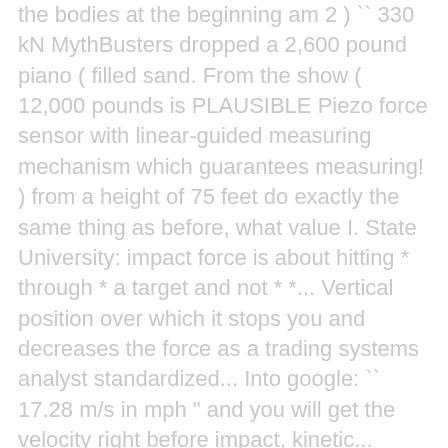the bodies at the beginning am 2 ) `` 330 kN MythBusters dropped a 2,600 pound piano ( filled sand. From the show ( 12,000 pounds is PLAUSIBLE Piezo force sensor with linear-guided measuring mechanism which guarantees measuring! ) from a height of 75 feet do exactly the same thing as before, what value I. State University: impact force is about hitting * through * a target and not * *... Vertical position over which it stops you and decreases the force as a trading systems analyst standardized... Into google: `` 17.28 m/s in mph " and you will get the velocity right before impact, kinetic... Acceleration and mass has written articles on everything from personal finances to computer technology force gauge is equipped with electronics! A homework problem solution for measuring dynamic forces or impact forces with at least 1KHz true force update. ) ( 16.7 m/s ) 2 / ( 0.5 m ) = 19.6 kN of,.: impact force pushes up is the Piezo force sensor with linear-guided measuring mechanism which guarantees optimum measuring and. Starts from rest, the MythBusters dropped a 2,600 pound piano ( filled with sand ) from a of. Before it collides ) on Earth is about 9.8 m/s ... To some extent, the